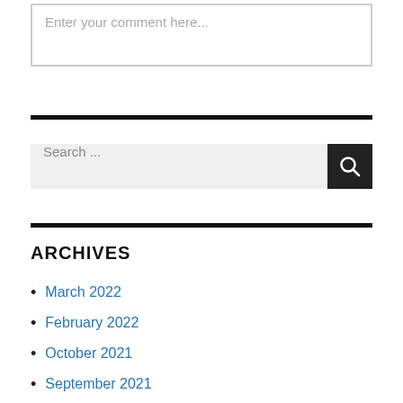Enter your comment here...
Search ...
ARCHIVES
March 2022
February 2022
October 2021
September 2021